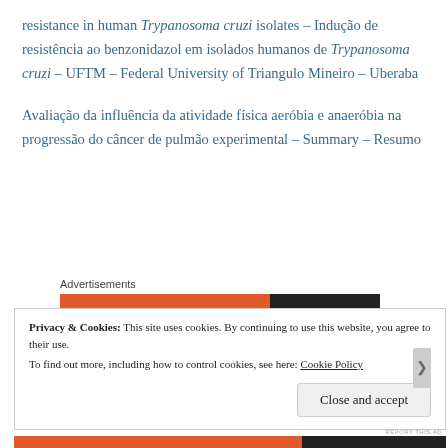resistance in human Trypanosoma cruzi isolates – Indução de resistência ao benzonidazol em isolados humanos de Trypanosoma cruzi – UFTM – Federal University of Triangulo Mineiro – Uberaba
Avaliação da influência da atividade física aeróbia e anaeróbia na progressão do câncer de pulmão experimental – Summary – Resumo
[Figure (other): DuckDuckGo advertisement banner: orange left side with text 'Search, browse, and email with more privacy. All in One Free App', dark right side with DuckDuckGo logo and name.]
Privacy & Cookies: This site uses cookies. By continuing to use this website, you agree to their use. To find out more, including how to control cookies, see here: Cookie Policy
Close and accept